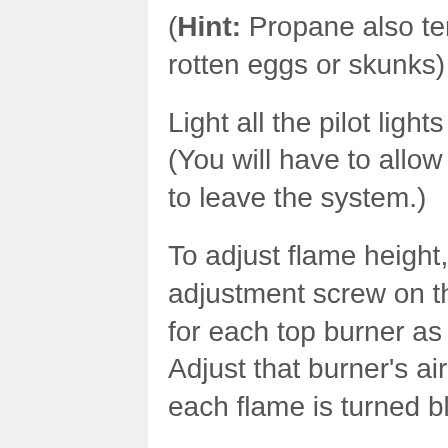(Hint: Propane also tends to smell like rotten eggs or skunks)
Light all the pilot lights for the appliance. (You will have to allow a moment for the air to leave the system.)
To adjust flame height, you should turn the adjustment screw on the pilot valve. Do this for each top burner as well as for the oven. Adjust that burner's air shutter until the tip of each flame is turned blue.
If the appliance has a combination safety valve, it also must be replaced using a